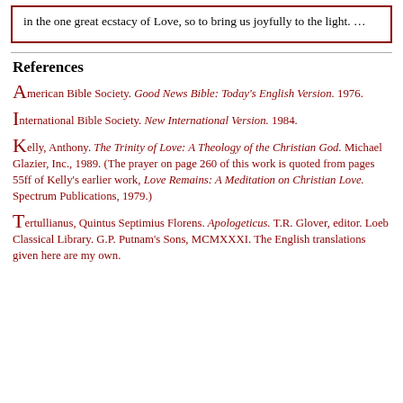in the one great ecstacy of Love, so to bring us joyfully to the light. …
References
American Bible Society. Good News Bible: Today's English Version. 1976.
International Bible Society. New International Version. 1984.
Kelly, Anthony. The Trinity of Love: A Theology of the Christian God. Michael Glazier, Inc., 1989. (The prayer on page 260 of this work is quoted from pages 55ff of Kelly's earlier work, Love Remains: A Meditation on Christian Love. Spectrum Publications, 1979.)
Tertullianus, Quintus Septimius Florens. Apologeticus. T.R. Glover, editor. Loeb Classical Library. G.P. Putnam's Sons, MCMXXXI. The English translations given here are my own.